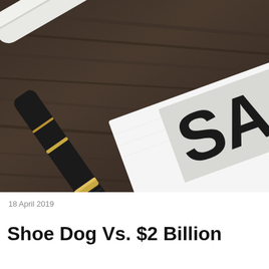[Figure (photo): Close-up photograph of a black and gold fountain pen resting on a dark wooden surface next to a white document/paper that shows partial text 'SA' (likely 'SALE' or 'SALES AGREEMENT') in large bold letters on a lighter rectangular area.]
18 April 2019
Shoe Dog Vs. $2 Billion